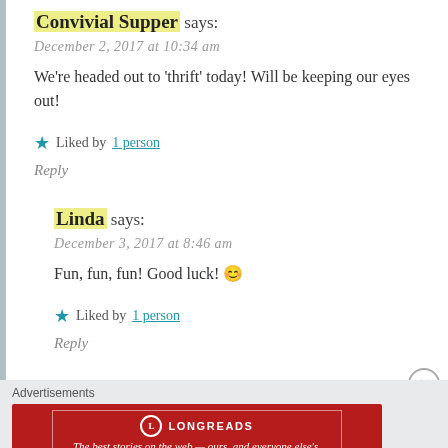Convivial Supper says:
December 2, 2017 at 10:34 am
We're headed out to 'thrift' today! Will be keeping our eyes out!
★ Liked by 1 person
Reply
Linda says:
December 3, 2017 at 8:46 am
Fun, fun, fun! Good luck! 😊
★ Liked by 1 person
Reply
Advertisements
[Figure (other): Longreads advertisement banner: red background with Longreads logo and tagline 'The best stories on the web — ours, and everyone else's.']